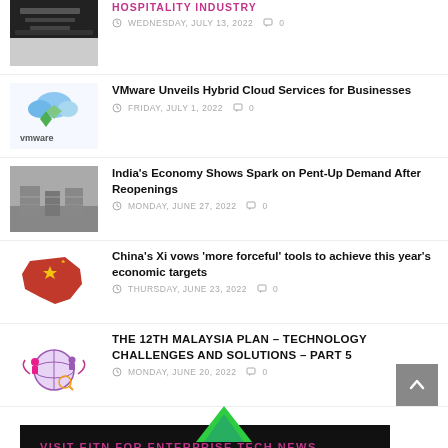HOSPITALITY INDUSTRY — WEDNESDAY, JULY 13, 2022  0
VMware Unveils Hybrid Cloud Services for Businesses — FRIDAY, JULY 1, 2022  0
India's Economy Shows Spark on Pent-Up Demand After Reopenings — MONDAY, JUNE 27, 2022  0
China's Xi vows 'more forceful' tools to achieve this year's economic targets — THURSDAY, JUNE 23, 2022  0
THE 12TH MALAYSIA PLAN – TECHNOLOGY CHALLENGES AND SOLUTIONS – PART 5 — MONDAY, JUNE 20, 2022  0
VISIT EITN FOR ENTERPRISE TECH NEWS